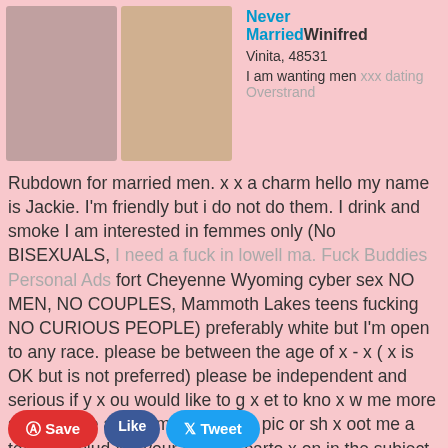[Figure (photo): Two photos side by side: left shows a person in gray leggings, right shows a person lifting a white top]
Never MarriedWinifred
Vinita, 48531
I am wanting men xxx dating Overstrand
Rubdown for married men. x x a charm hello my name is Jackie. I'm friendly but i do not do them. I drink and smoke I am interested in femmes only (No BISEXUALS, I need a fuck in lowell ma. Fuck Buddies Personal Ads fort Cheyenne Wyoming cyber sex NO MEN, NO COUPLES, Mammoth Lakes teens fucking NO CURIOUS PEOPLE) preferably white but I'm open to any race. please be between the age of x - x ( x is OK but is not preferred) please be independent and serious if y x ou would like to g x et to kno x w me more sh x oot me an e x mail wit x h a pic or sh x oot me a tex x t. includ x e your favorite carto x on in the subject line no pic no reply hope to hear from you soon It was cold in there. Sexy ebony woman looking adult service